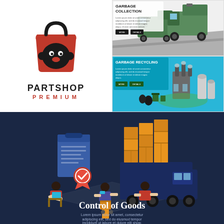[Figure (logo): PartShop Premium logo: red shopping bag with black wrench/panda face icon, text PARTSHOP in bold black, PREMIUM in red spaced caps]
[Figure (illustration): Garbage Collection banner: isometric green garbage trucks on a road, white background, title GARBAGE COLLECTION with Lorem ipsum text and two dark buttons]
[Figure (illustration): Garbage Recycling banner: blue background, isometric recycling plant with factory buildings, trash bins, title GARBAGE RECYCLING with Lorem ipsum text and two buttons]
[Figure (illustration): Control of Goods banner: dark navy blue background, isometric scene with workers loading boxes onto a truck with a clipboard/document, title Control of Goods, Lorem ipsum subtitle text]